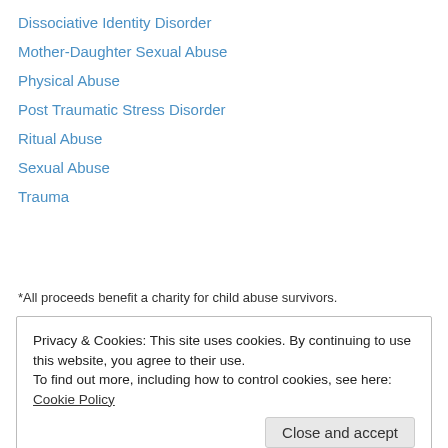Dissociative Identity Disorder
Mother-Daughter Sexual Abuse
Physical Abuse
Post Traumatic Stress Disorder
Ritual Abuse
Sexual Abuse
Trauma
*All proceeds benefit a charity for child abuse survivors.
Privacy & Cookies: This site uses cookies. By continuing to use this website, you agree to their use.
To find out more, including how to control cookies, see here: Cookie Policy
Close and accept